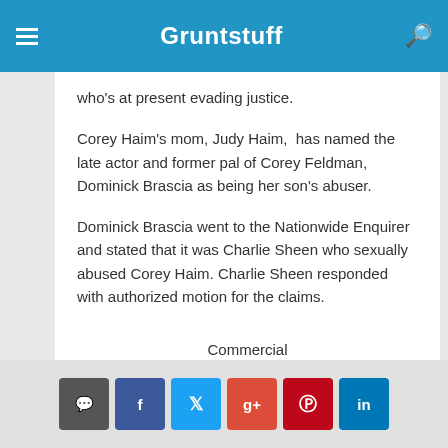Gruntstuff
who's at present evading justice.
Corey Haim's mom, Judy Haim,  has named the late actor and former pal of Corey Feldman, Dominick Brascia as being her son's abuser.
Dominick Brascia went to the Nationwide Enquirer and stated that it was Charlie Sheen who sexually abused Corey Haim. Charlie Sheen responded with authorized motion for the claims.
Commercial
< [comment] [f] [t] [g+] [p] [in] >